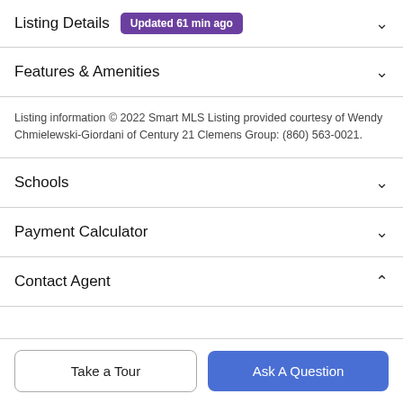Listing Details Updated 61 min ago
Features & Amenities
Listing information © 2022 Smart MLS Listing provided courtesy of Wendy Chmielewski-Giordani of Century 21 Clemens Group: (860) 563-0021.
Schools
Payment Calculator
Contact Agent
Take a Tour
Ask A Question